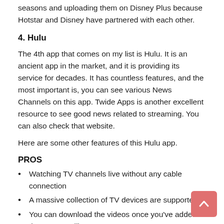seasons and uploading them on Disney Plus because Hotstar and Disney have partnered with each other.
4. Hulu
The 4th app that comes on my list is Hulu. It is an ancient app in the market, and it is providing its service for decades. It has countless features, and the most important is, you can see various News Channels on this app. Twide Apps is another excellent resource to see good news related to streaming. You can also check that website.
Here are some other features of this Hulu app.
PROS
Watching TV channels live without any cable connection
A massive collection of TV devices are supported
You can download the videos once you've added them to your library
Recording the videos you like, but 50 hours is the limit.